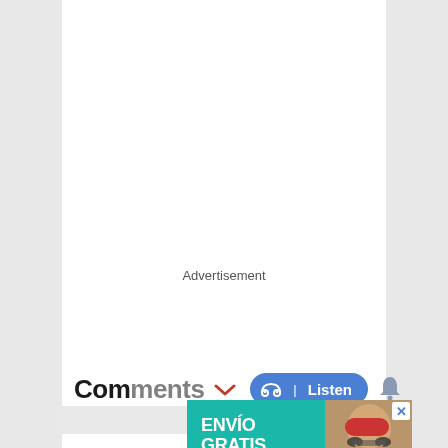Advertisement
Comments
[Figure (screenshot): A listen button with headphone icon in blue pill shape, and a bell notification icon]
[Figure (photo): Advertisement banner: ENVÍO GRATIS A TODA LA ARGENTINA with a person wearing sunglasses and red hat on teal background]